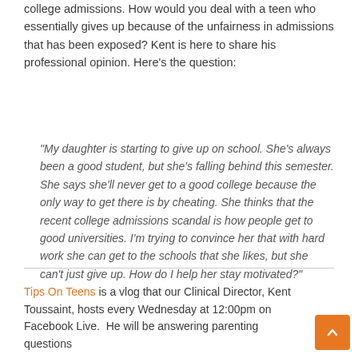college admissions. How would you deal with a teen who essentially gives up because of the unfairness in admissions that has been exposed? Kent is here to share his professional opinion. Here's the question:
“My daughter is starting to give up on school. She’s always been a good student, but she’s falling behind this semester. She says she’ll never get to a good college because the only way to get there is by cheating. She thinks that the recent college admissions scandal is how people get to good universities. I’m trying to convince her that with hard work she can get to the schools that she likes, but she can’t just give up. How do I help her stay motivated?”
Tips On Teens is a vlog that our Clinical Director, Kent Toussaint, hosts every Wednesday at 12:00pm on Facebook Live.  He will be answering parenting questions